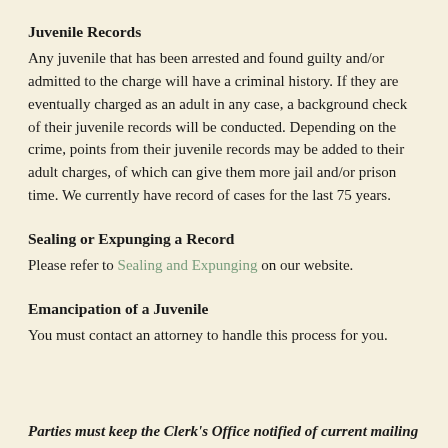Juvenile Records
Any juvenile that has been arrested and found guilty and/or admitted to the charge will have a criminal history. If they are eventually charged as an adult in any case, a background check of their juvenile records will be conducted. Depending on the crime, points from their juvenile records may be added to their adult charges, of which can give them more jail and/or prison time. We currently have record of cases for the last 75 years.
Sealing or Expunging a Record
Please refer to Sealing and Expunging on our website.
Emancipation of a Juvenile
You must contact an attorney to handle this process for you.
Parties must keep the Clerk's Office notified of current mailing